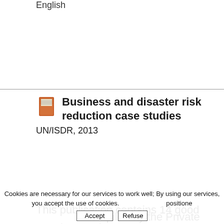English
Business and disaster risk reduction case studies
UN/ISDR, 2013
This publication contains 14 good practices and compiled by the Private Sector Advisory Group o Disaster Risk Reduction (UNISDR). Each of the more of the five essentials for business in their p reduction. It presents the various types of collab to the all five essentials, and are positioned potentially eliminating disasters as well as disa
Cookies are necessary for our services to work well; By using our services, you accept the use of cookies.
Refuse
Accept